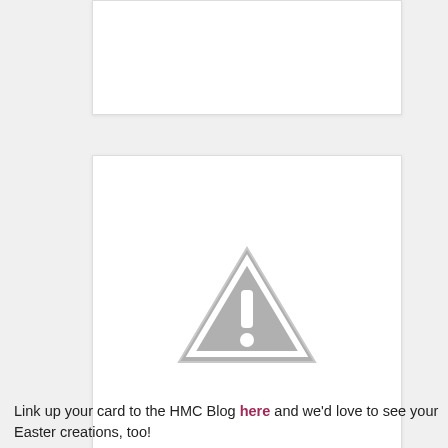[Figure (other): Top image placeholder box — white rectangle with light border, content not visible]
[Figure (other): Image placeholder box with grey warning/caution triangle icon (exclamation mark inside triangle) centered on white background]
Link up your card to the HMC Blog here and we'd love to see your Easter creations, too!